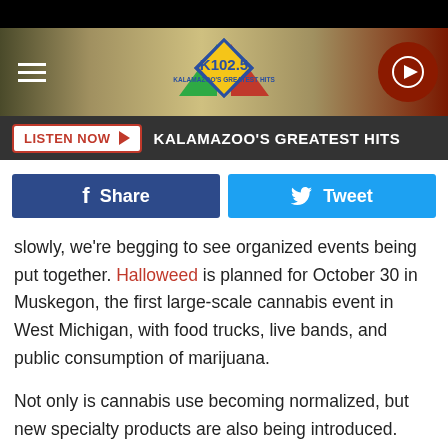[Figure (screenshot): K102.5 radio station website header with logo, hamburger menu, play button, Listen Now bar, and social share buttons]
slowly, we're begging to see organized events being put together. Halloweed is planned for October 30 in Muskegon, the first large-scale cannabis event in West Michigan, with food trucks, live bands, and public consumption of marijuana.
Not only is cannabis use becoming normalized, but new specialty products are also being introduced. Some profess to help you relax, others aim to help you sleep faster and